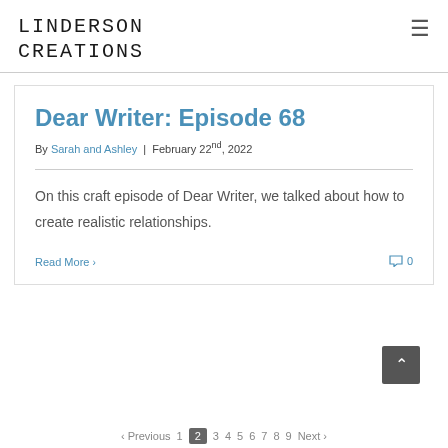LINDERSON CREATIONS
Dear Writer: Episode 68
By Sarah and Ashley | February 22nd, 2022
On this craft episode of Dear Writer, we talked about how to create realistic relationships.
Read More > | 0 comments
< Previous 1 2 3 4 5 6 7 8 9 Next >